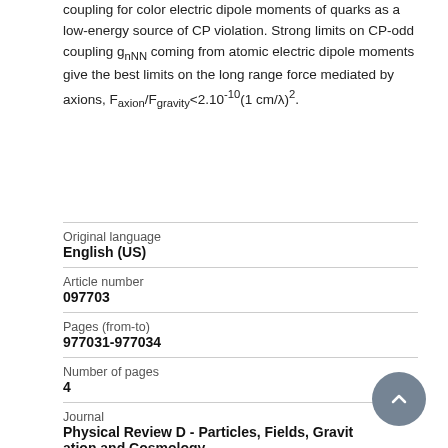coupling for color electric dipole moments of quarks as a low-energy source of CP violation. Strong limits on CP-odd coupling g_nNN coming from atomic electric dipole moments give the best limits on the long range force mediated by axions, F_axion/F_gravity<2.10^-10(1 cm/λ)^2.
| Field | Value |
| --- | --- |
| Original language | English (US) |
| Article number | 097703 |
| Pages (from-to) | 977031-977034 |
| Number of pages | 4 |
| Journal | Physical Review D - Particles, Fields, Gravitation and Cosmology |